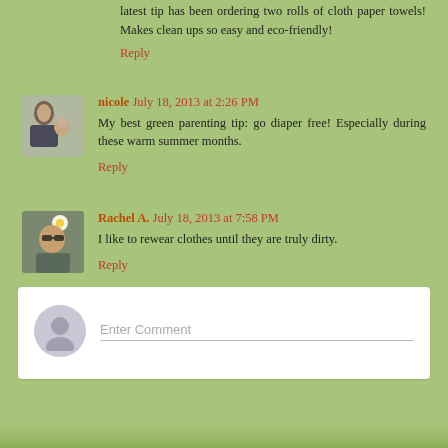latest tip has been ordering two rolls of cloth paper towels! Makes clean ups so easy and eco-friendly!
Reply
[Figure (photo): Avatar photo of woman with baby]
nicole July 18, 2013 at 2:26 PM
My best green parenting tip: go diaper free! Especially during these warm summer months.
Reply
[Figure (photo): Avatar photo of woman with sunglasses and daisy]
Rachel A. July 18, 2013 at 7:58 PM
I like to rewear clothes until they are truly dirty.
Reply
Enter Comment